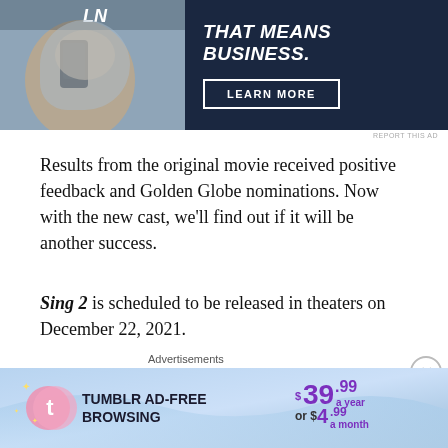[Figure (photo): Advertisement banner showing a person on the right side with dark navy background on the right side containing bold italic text 'THAT MEANS BUSINESS.' and a LEARN MORE button]
REPORT THIS AD
Results from the original movie received positive feedback and Golden Globe nominations. Now with the new cast, we'll find out if it will be another success.
Sing 2 is scheduled to be released in theaters on December 22, 2021.
“Featured Image via The Strand Theatre”
Advertisements
[Figure (infographic): Tumblr Ad-Free Browsing advertisement banner showing Tumblr logo, price $39.99 a year or $4.99 a month on a blue gradient background]